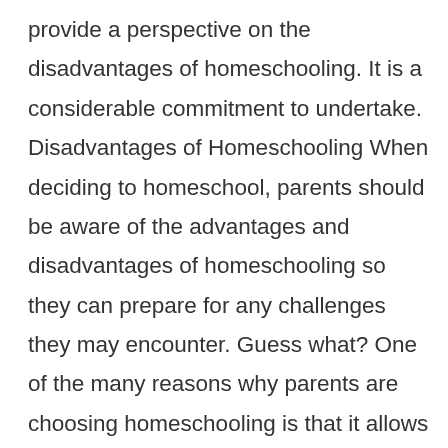provide a perspective on the disadvantages of homeschooling. It is a considerable commitment to undertake. Disadvantages of Homeschooling When deciding to homeschool, parents should be aware of the advantages and disadvantages of homeschooling so they can prepare for any challenges they may encounter. Guess what? One of the many reasons why parents are choosing homeschooling is that it allows them to have greater involvement in their children's education. If you are interested in sending a guest post, please read our guidelines here. Many religious parents have